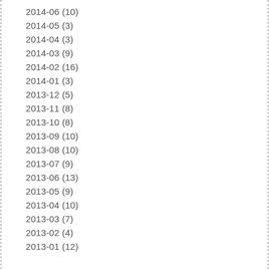2014-06 (10)
2014-05 (3)
2014-04 (3)
2014-03 (9)
2014-02 (16)
2014-01 (3)
2013-12 (5)
2013-11 (8)
2013-10 (8)
2013-09 (10)
2013-08 (10)
2013-07 (9)
2013-06 (13)
2013-05 (9)
2013-04 (10)
2013-03 (7)
2013-02 (4)
2013-01 (12)